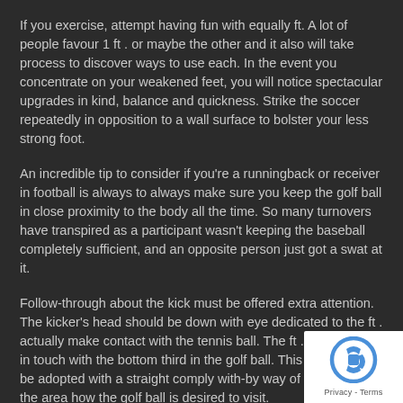If you exercise, attempt having fun with equally ft. A lot of people favour 1 ft . or maybe the other and it also will take process to discover ways to use each. In the event you concentrate on your weakened feet, you will notice spectacular upgrades in kind, balance and quickness. Strike the soccer repeatedly in opposition to a wall surface to bolster your less strong foot.
An incredible tip to consider if you're a runningback or receiver in football is always to always make sure you keep the golf ball in close proximity to the body all the time. So many turnovers have transpired as a participant wasn't keeping the baseball completely sufficient, and an opposite person just got a swat at it.
Follow-through about the kick must be offered extra attention. The kicker's head should be down with eye dedicated to the ft . actually make contact with the tennis ball. The ft . ought to get in touch with the bottom third in the golf ball. This action has to be adopted with a straight comply with-by way of directed at the area how the golf ball is desired to visit.
If you are operating using the basketball, cradle it near to your whole body. Athletes on the other team will endeavour to strip the soccer from yo… definitely push a fumble. In case the soccer ball is out of your physi… easier for your opposition crew to generate a engage in on the ball.
[Figure (logo): reCAPTCHA badge with blue logo icon and Privacy - Terms text]